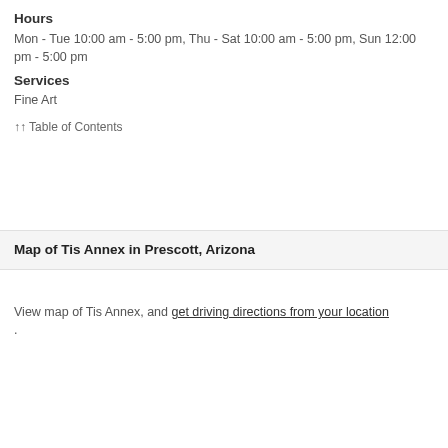Hours
Mon - Tue 10:00 am - 5:00 pm, Thu - Sat 10:00 am - 5:00 pm, Sun 12:00 pm - 5:00 pm
Services
Fine Art
↑↑ Table of Contents
Map of Tis Annex in Prescott, Arizona
View map of Tis Annex, and get driving directions from your location .